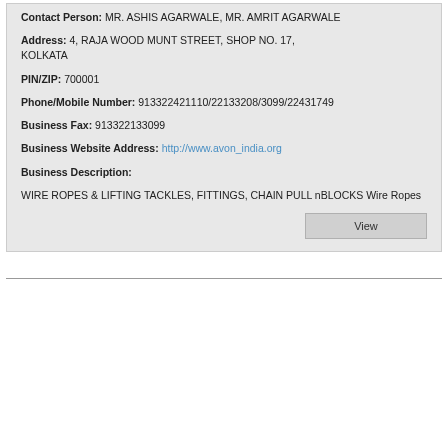Contact Person: MR. ASHIS AGARWALE, MR. AMRIT AGARWALE
Address: 4, RAJA WOOD MUNT STREET, SHOP NO. 17, KOLKATA
PIN/ZIP: 700001
Phone/Mobile Number: 913322421110/22133208/3099/22431749
Business Fax: 913322133099
Business Website Address: http://www.avon_india.org
Business Description:
WIRE ROPES & LIFTING TACKLES, FITTINGS, CHAIN PULL nBLOCKS Wire Ropes